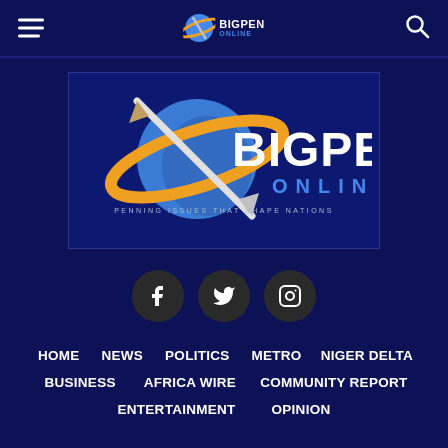BigPen Online navigation bar with hamburger menu, logo, and search icon
[Figure (logo): BigPen Online logo: blue planet with pen and orange orbit ring, white BIGPEN text, blue ONLINE text, tagline PENNING ISSUES THAT SHAPE NATIONS]
[Figure (illustration): Social media icons: Facebook, Twitter, Instagram in dark circular buttons]
HOME
NEWS
POLITICS
METRO
NIGER DELTA
BUSINESS
AFRICA WIRE
COMMUNITY REPORT
ENTERTAINMENT
OPINION